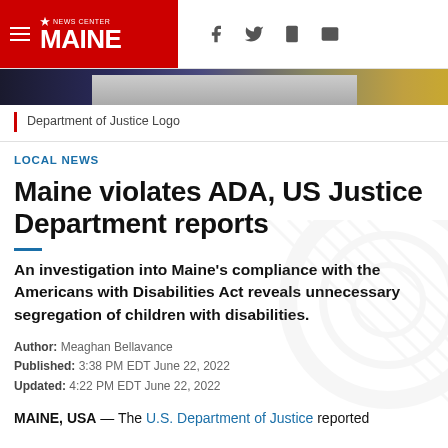NEWS CENTER MAINE
[Figure (photo): Department of Justice Logo partial banner image strip]
Department of Justice Logo
LOCAL NEWS
Maine violates ADA, US Justice Department reports
An investigation into Maine's compliance with the Americans with Disabilities Act reveals unnecessary segregation of children with disabilities.
Author: Meaghan Bellavance
Published: 3:38 PM EDT June 22, 2022
Updated: 4:22 PM EDT June 22, 2022
MAINE, USA — The U.S. Department of Justice reported